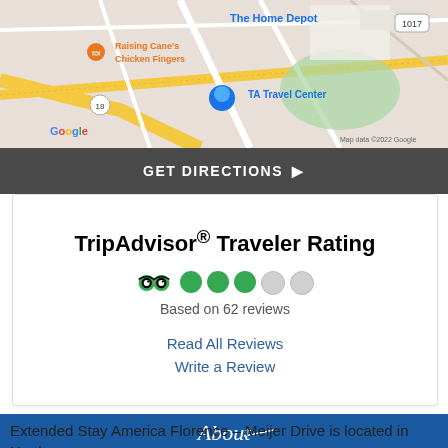[Figure (map): Google Maps screenshot showing area near The Home Depot, Raising Cane's Chicken Fingers, TA Travel Center, with road number 1017 and 18 visible. Map data ©2022 Google.]
GET DIRECTIONS ▶
TripAdvisor® Traveler Rating
[Figure (infographic): TripAdvisor owl logo followed by 3 filled green bubbles and 2 empty grey bubbles indicating a 3 out of 5 rating]
Based on 62 reviews
Read All Reviews
Write a Review
[Figure (logo): About section header with cursive 'About' text on blue background with decorative underline]
Extended Stay America Florence – Meijer Drive is located in Northern